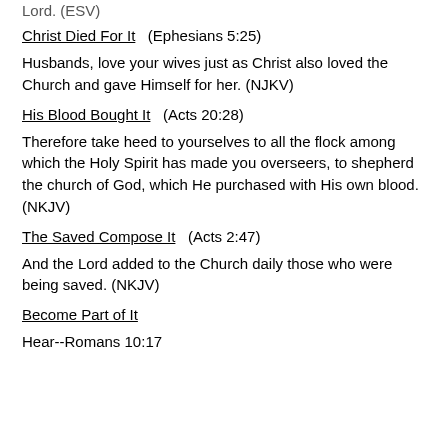Lord. (ESV)
Christ Died For It    (Ephesians 5:25)
Husbands, love your wives just as Christ also loved the Church and gave Himself for her. (NJKV)
His Blood Bought It    (Acts 20:28)
Therefore take heed to yourselves to all the flock among which the Holy Spirit has made you overseers, to shepherd the church of God, which He purchased with His own blood. (NKJV)
The Saved Compose It    (Acts 2:47)
And the Lord added to the Church daily those who were being saved. (NKJV)
Become Part of It
Hear--Romans 10:17